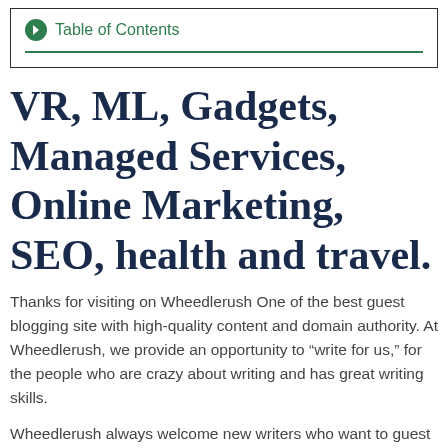Table of Contents
VR, ML, Gadgets, Managed Services, Online Marketing, SEO, health and travel.
Thanks for visiting on Wheedlerush One of the best guest blogging site with high-quality content and domain authority. At Wheedlerush, we provide an opportunity to “write for us,” for the people who are crazy about writing and has great writing skills.
Wheedlerush always welcome new writers who want to guest